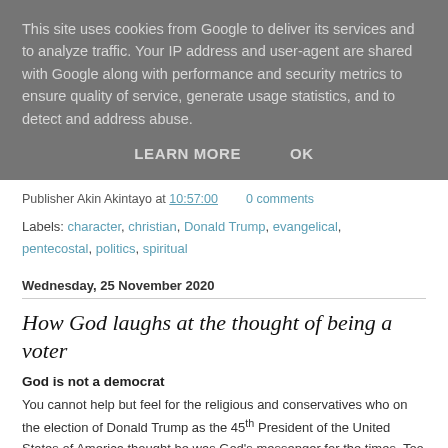This site uses cookies from Google to deliver its services and to analyze traffic. Your IP address and user-agent are shared with Google along with performance and security metrics to ensure quality of service, generate usage statistics, and to detect and address abuse.
LEARN MORE   OK
Publisher Akin Akintayo at 10:57:00   0 comments
Labels: character, christian, Donald Trump, evangelical, pentecostal, politics, spiritual
Wednesday, 25 November 2020
How God laughs at the thought of being a voter
God is not a democrat
You cannot help but feel for the religious and conservatives who on the election of Donald Trump as the 45th President of the United States of America thought he was God's messenger for the times. Too many